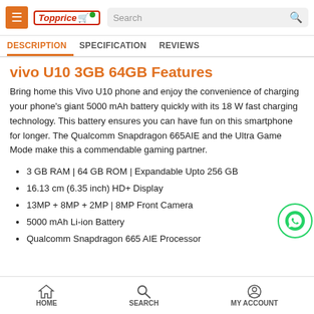Topprice | Search
DESCRIPTION | SPECIFICATION | REVIEWS
vivo U10 3GB 64GB Features
Bring home this Vivo U10 phone and enjoy the convenience of charging your phone's giant 5000 mAh battery quickly with its 18 W fast charging technology. This battery ensures you can have fun on this smartphone for longer. The Qualcomm Snapdragon 665AIE and the Ultra Game Mode make this a commendable gaming partner.
3 GB RAM | 64 GB ROM | Expandable Upto 256 GB
16.13 cm (6.35 inch) HD+ Display
13MP + 8MP + 2MP | 8MP Front Camera
5000 mAh Li-ion Battery
Qualcomm Snapdragon 665 AIE Processor
HOME | SEARCH | MY ACCOUNT